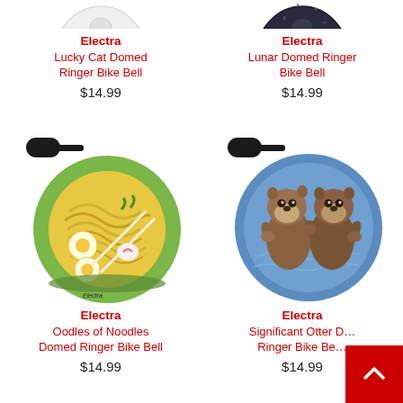[Figure (photo): Top portion of white Lucky Cat Domed Ringer Bike Bell, partially visible (cut off at top)]
Electra
Lucky Cat Domed Ringer Bike Bell
$14.99
[Figure (photo): Top portion of dark/black Lunar Domed Ringer Bike Bell, partially visible (cut off at top)]
Electra
Lunar Domed Ringer Bike Bell
$14.99
[Figure (photo): Electra Oodles of Noodles Domed Ringer Bike Bell - green bell with ramen noodle bowl illustration, black striker on top]
Electra
Oodles of Noodles Domed Ringer Bike Bell
$14.99
[Figure (photo): Electra Significant Otter Domed Ringer Bike Bell - blue bell with two otters holding hands illustration, black striker on top]
Electra
Significant Otter Domed Ringer Bike Bell
$14.99